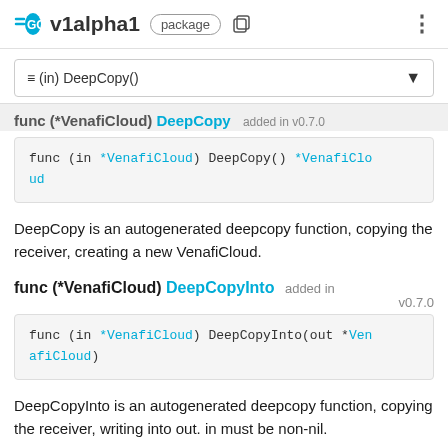GO v1alpha1 package
≡ (in) DeepCopy()
func (*VenafiCloud) DeepCopy  added in v0.7.0
func (in *VenafiCloud) DeepCopy() *VenafiCloud
DeepCopy is an autogenerated deepcopy function, copying the receiver, creating a new VenafiCloud.
func (*VenafiCloud) DeepCopyInto  added in v0.7.0
func (in *VenafiCloud) DeepCopyInto(out *VenafiCloud)
DeepCopyInto is an autogenerated deepcopy function, copying the receiver, writing into out. in must be non-nil.